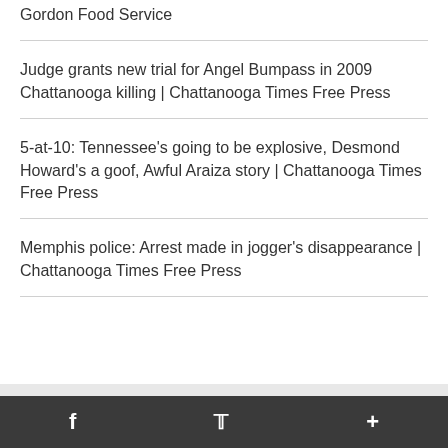Gordon Food Service
Judge grants new trial for Angel Bumpass in 2009 Chattanooga killing | Chattanooga Times Free Press
5-at-10: Tennessee's going to be explosive, Desmond Howard's a goof, Awful Araiza story | Chattanooga Times Free Press
Memphis police: Arrest made in jogger's disappearance | Chattanooga Times Free Press
f  🐦  +